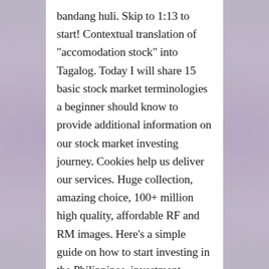bandang huli. Skip to 1:13 to start! Contextual translation of "accomodation stock" into Tagalog. Today I will share 15 basic stock market terminologies a beginner should know to provide additional information on our stock market investing journey. Cookies help us deliver our services. Huge collection, amazing choice, 100+ million high quality, affordable RF and RM images. Here’s a simple guide on how to start investing in the Philippines. investment translation in English-Tagalog dictionary. Barong Tagalog sizes: baby to Big&Tall in stock now. Quality: In Stock . What is the word for Stock in Tagalog? all the printing branches worldwide can know what